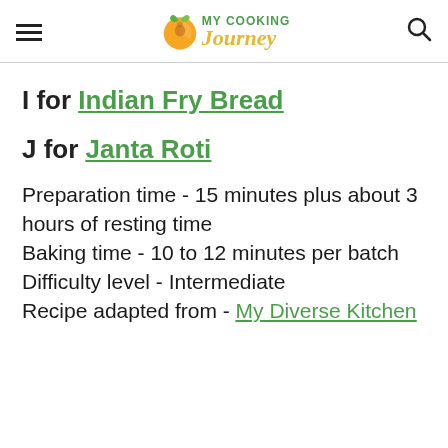My Cooking Journey
I for Indian Fry Bread
J for Janta Roti
Preparation time - 15 minutes plus about 3 hours of resting time
Baking time - 10 to 12 minutes per batch
Difficulty level - Intermediate
Recipe adapted from - My Diverse Kitchen